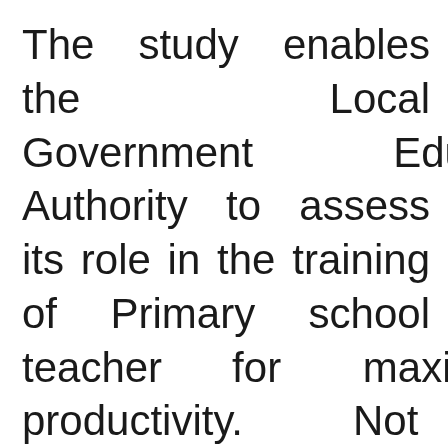The study enables the Local Government Education Authority to assess its role in the training of Primary school teacher for maximum productivity. Not only that; the study is important to teachers and public as it will enlighten them about the